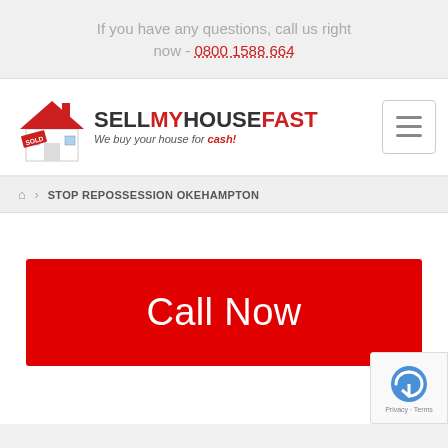If you have any questions, call us right now - 0800 1588 664
[Figure (logo): SellMyHouseFast logo with house graphic and text: SELL MY HOUSE FAST - We buy your house for cash!]
🏠 > STOP REPOSSESSION OKEHAMPTON
[Figure (other): Red Call Now button]
[Figure (other): Google reCAPTCHA badge with Privacy and Terms text]